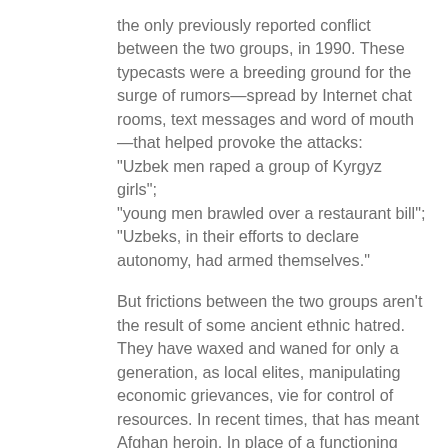the only previously reported conflict between the two groups, in 1990. These typecasts were a breeding ground for the surge of rumors—spread by Internet chat rooms, text messages and word of mouth—that helped provoke the attacks: “Uzbek men raped a group of Kyrgyz girls”; “young men brawled over a restaurant bill”; “Uzbeks, in their efforts to declare autonomy, had armed themselves.”
But frictions between the two groups aren’t the result of some ancient ethnic hatred. They have waxed and waned for only a generation, as local elites, manipulating economic grievances, vie for control of resources. In recent times, that has meant Afghan heroin. In place of a functioning state, southern Kyrgyzstan has become a network of trafficking routes controlled by narco-barons and their extended families.
From the Times, on June 26, “After Kyrgyz Unrest, a Question Lingers: Why?” An excerpt: